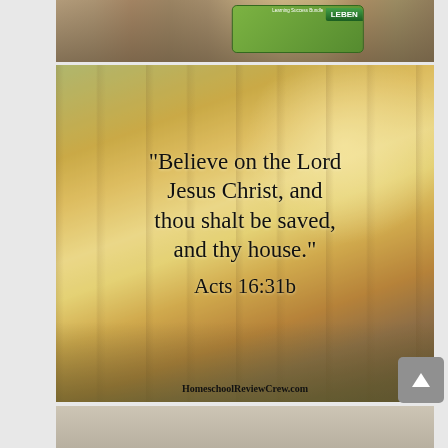[Figure (photo): Top portion of a photo showing a person holding a learning/educational product box with green packaging and 'LEBEN' visible on the right]
[Figure (photo): Autumn woodland scene with glowing warm light through trees, overlaid with handwritten-style scripture text: "Believe on the Lord Jesus Christ, and thou shalt be saved, and thy house." Acts 16:31b — with HomeschoolReviewCrew.com attribution at the bottom]
[Figure (photo): Bottom portion of another photo, partially visible, showing a light-colored surface]